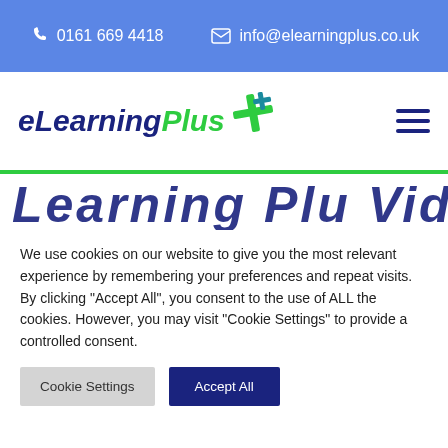0161 669 4418   info@elearningplus.co.uk
[Figure (logo): eLearning Plus logo with blue italic text and green cross/plus icon]
We use cookies on our website to give you the most relevant experience by remembering your preferences and repeat visits. By clicking "Accept All", you consent to the use of ALL the cookies. However, you may visit "Cookie Settings" to provide a controlled consent.
Cookie Settings   Accept All